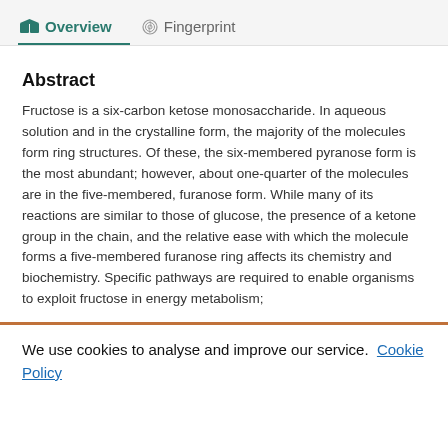Overview  Fingerprint
Abstract
Fructose is a six-carbon ketose monosaccharide. In aqueous solution and in the crystalline form, the majority of the molecules form ring structures. Of these, the six-membered pyranose form is the most abundant; however, about one-quarter of the molecules are in the five-membered, furanose form. While many of its reactions are similar to those of glucose, the presence of a ketone group in the chain, and the relative ease with which the molecule forms a five-membered furanose ring affects its chemistry and biochemistry. Specific pathways are required to enable organisms to exploit fructose in energy metabolism;
We use cookies to analyse and improve our service. Cookie Policy